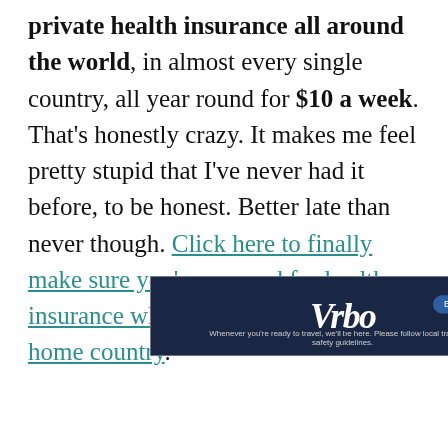private health insurance all around the world, in almost every single country, all year round for $10 a week. That's honestly crazy. It makes me feel pretty stupid that I've never had it before, to be honest. Better late than never though. Click here to finally make sure you're covered for health insurance while you're not in your home country.
[Figure (other): Advertisement for Vrbo vacation rental. Dark navy blue background with Vrbo logo in white italic serif font on the left, a 'Book Now' button in a blue rounded rectangle on the right, and tagline text below: 'Whenever you're ready to travel, we'll be here. Please follow local travel and safety guidelines.' There are small navigation arrow and close (X) buttons in the top-right corner.]